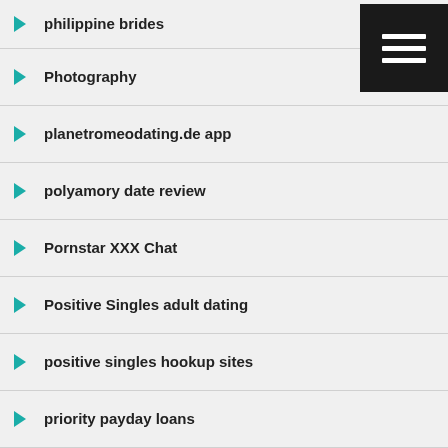philippine brides
Photography
planetromeodating.de app
polyamory date review
Pornstar XXX Chat
Positive Singles adult dating
positive singles hookup sites
priority payday loans
profile
prosper personal loans online payday loan
pure fr come funziona
pure kosten